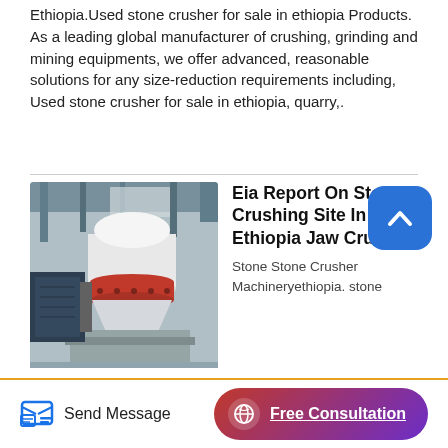Ethiopia.Used stone crusher for sale in ethiopia Products. As a leading global manufacturer of crushing, grinding and mining equipments, we offer advanced, reasonable solutions for any size-reduction requirements including, Used stone crusher for sale in ethiopia, quarry,.
[Figure (photo): Photo of a large industrial stone crusher machine (cone crusher) with a white cylindrical top, red band in the middle, and black motor on the side, sitting on a concrete platform inside a factory/warehouse building.]
Eia Report On Stone Crushing Site In Ethiopia Jaw Crusher
Stone Stone Crusher Machineryethiopia. stone crusher machine ethiopia grinding mill equipment. crusher mining and construction stone crusher full station sale used in uk 3ootons impact crusher price ethiopian opal mining law miner machine for crusher rock detail stone crushers plants in
Send Message
Free Consultation